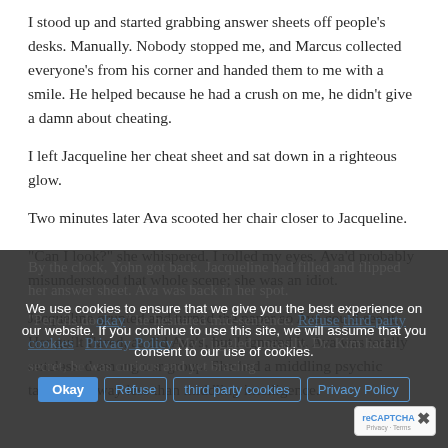I stood up and started grabbing answer sheets off people's desks. Manually. Nobody stopped me, and Marcus collected everyone's from his corner and handed them to me with a smile. He helped because he had a crush on me, he didn't give a damn about cheating.
I left Jacqueline her cheat sheet and sat down in a righteous glow.
Two minutes later Ava scooted her chair closer to Jacqueline.
“Can I look?” she whispered. I rolled my eyes. Ava’d probably misunderstood that whole scene; she was an idiot.
Jacqueline grunted and turned the paper so Ava could see it. Her guilt flared, as did Ava’s, but I ignored it. Ava was totally outclassed among our group. She had a middling psychic talent, and way less than middling intelligence.
By the clock, Yohn got back. Jacqueline had filled and flipped her answer sheet. Ava was back in her spot.
“Pencils do…” he hesitated mid-sentence. “…My I jiggled uneasily. Dr. Kim had a secret, he was curious and yet bracing
We use cookies to ensure that we give you the best experience on our website. If you continue to use this site, we will assume that you consent to our use of cookies.